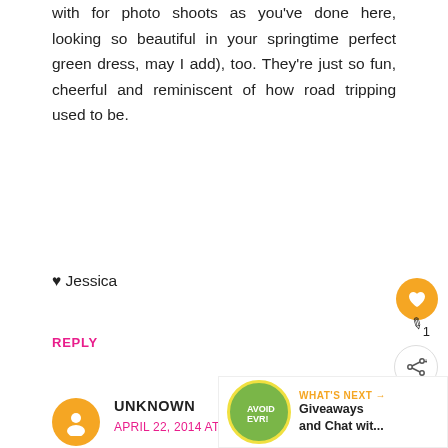with for photo shoots as you've done here, looking so beautiful in your springtime perfect green dress, may I add), too. They're just so fun, cheerful and reminiscent of how road tripping used to be.
♥ Jessica
REPLY
UNKNOWN
APRIL 22, 2014 AT 10:22 AM
Oh how I love that Airstream!! And you look fantastic! Please enter me in the give
Retro Gra
WHAT'S NEXT → Giveaways and Chat wit...